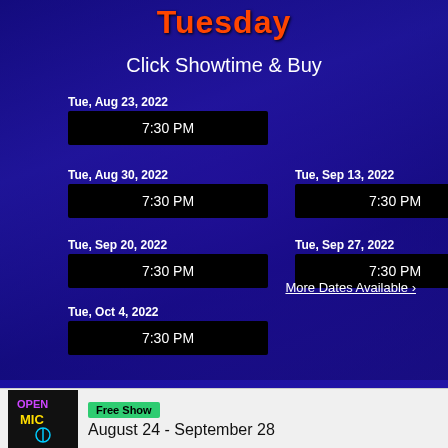Tuesday
Click Showtime & Buy
Tue, Aug 23, 2022 — 7:30 PM
Tue, Aug 30, 2022 — 7:30 PM
Tue, Sep 13, 2022 — 7:30 PM
Tue, Sep 20, 2022 — 7:30 PM
Tue, Sep 27, 2022 — 7:30 PM
Tue, Oct 4, 2022 — 7:30 PM
More Dates Available ›
[Figure (illustration): Open Mic neon sign logo]
Free Show
August 24 - September 28